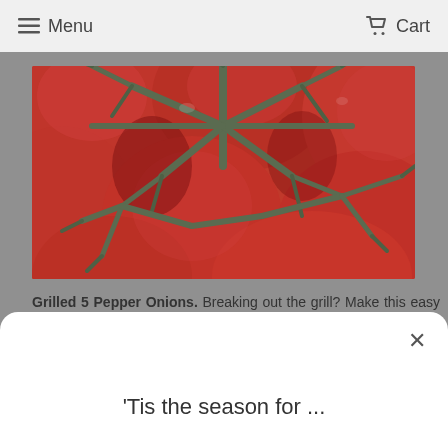Menu   Cart
[Figure (photo): Close-up photograph of red tomatoes with green stems, viewed from above showing the star-shaped vine attachments against the bright red flesh.]
Grilled 5 Pepper Onions. Breaking out the grill? Make this easy side dish - grab a few large onions,
'Tis the season for ...